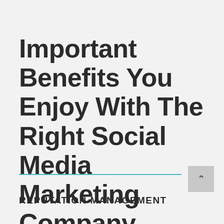Important Benefits You Enjoy With The Right Social Media Marketing Company
REPUTATION MANAGEMENT